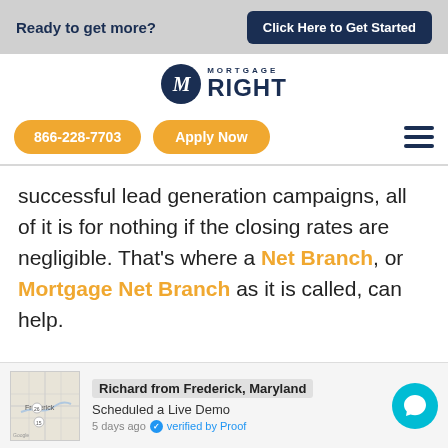Ready to get more?   Click Here to Get Started
[Figure (logo): MortgageRight logo with dark navy circle M and text MORTGAGE RIGHT]
866-228-7703   Apply Now
successful lead generation campaigns, all of it is for nothing if the closing rates are negligible. That’s where a Net Branch, or Mortgage Net Branch as it is called, can help.
Richard from Frederick, Maryland
Scheduled a Live Demo
5 days ago ✓ verified by Proof